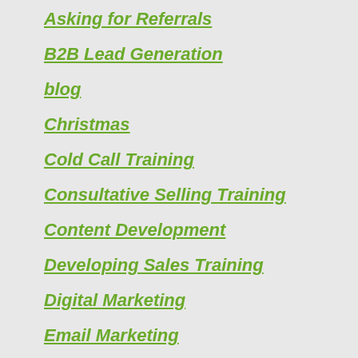Asking for Referrals
B2B Lead Generation
blog
Christmas
Cold Call Training
Consultative Selling Training
Content Development
Developing Sales Training
Digital Marketing
Email Marketing
Email Prospecting Training
events
General
Get Referrals